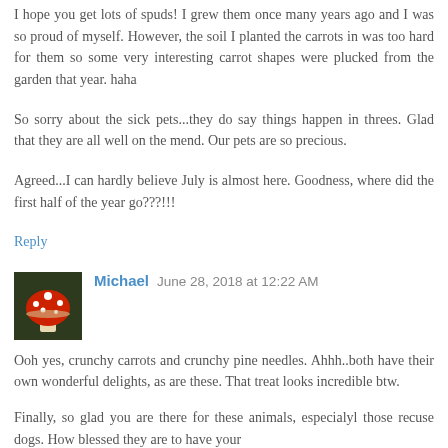I hope you get lots of spuds! I grew them once many years ago and I was so proud of myself. However, the soil I planted the carrots in was too hard for them so some very interesting carrot shapes were plucked from the garden that year. haha
So sorry about the sick pets...they do say things happen in threes. Glad that they are all well on the mend. Our pets are so precious.
Agreed...I can hardly believe July is almost here. Goodness, where did the first half of the year go???!!!
Reply
[Figure (photo): Small avatar image of a red mushroom with white spots on a dark background]
Michael  June 28, 2018 at 12:22 AM
Ooh yes, crunchy carrots and crunchy pine needles. Ahhh..both have their own wonderful delights, as are these. That treat looks incredible btw.
Finally, so glad you are there for these animals, especialyl those recuse dogs. How blessed they are to have your